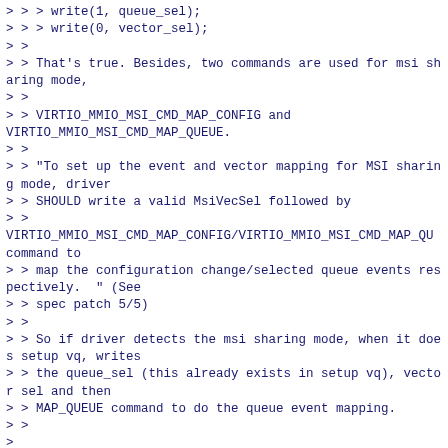> > > write(1, queue_sel);
> > > write(0, vector_sel);
> >
> > That's true. Besides, two commands are used for msi sharing mode,
> >
> > VIRTIO_MMIO_MSI_CMD_MAP_CONFIG and VIRTIO_MMIO_MSI_CMD_MAP_QUEUE.
> >
> > "To set up the event and vector mapping for MSI sharing mode, driver
> > SHOULD write a valid MsiVecSel followed by
> >
VIRTIO_MMIO_MSI_CMD_MAP_CONFIG/VIRTIO_MMIO_MSI_CMD_MAP_QU command to
> > map the configuration change/selected queue events respectively.  " (See
> > spec patch 5/5)
> >
> > So if driver detects the msi sharing mode, when it does setup vq, writes
> > the queue_sel (this already exists in setup vq), vector sel and then
> > MAP_QUEUE command to do the queue event mapping.
> >
>
> So actually the per vq msix could be done through this. I don't get why you
> need to introduce MSI_SHARING_MASK which is the charge of driver instead of
> device. The interrupt rate should have no direct